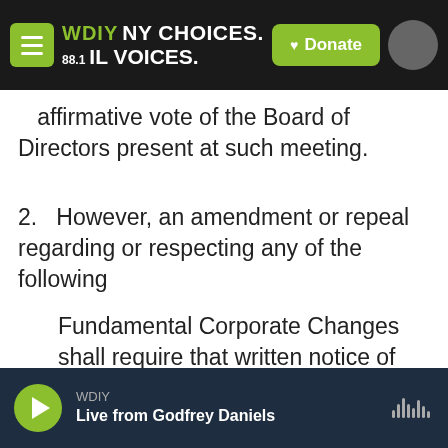[Figure (screenshot): WDIY 88.1 radio station navigation bar with hamburger menu, logo, tagline 'NY CHOICES. IL VOICES.' and green Donate button]
affirmative vote of the Board of Directors present at such meeting.
2.   However, an amendment or repeal regarding or respecting any of the following
Fundamental Corporate Changes shall require that written notice of the full text
[Figure (screenshot): WDIY audio player bar with green play button, station name WDIY, show name 'Live from Godfrey Daniels', and waveform icon]